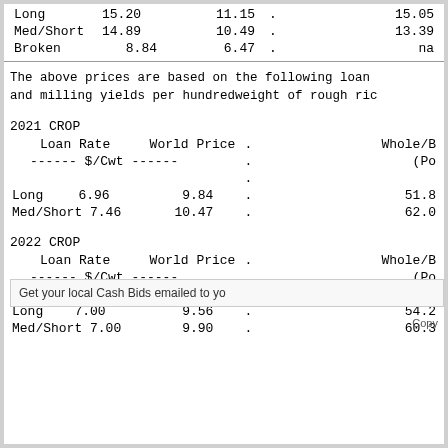| Type | Loan Rate | World Price | . | Col4 |
| --- | --- | --- | --- | --- |
| Long | 15.20 | 11.15 | . | 15.05 |
| Med/Short | 14.89 | 10.49 | . | 13.39 |
| Broken | 8.84 | 6.47 | . | na |
The above prices are based on the following loan
and milling yields per hundredweight of rough ric
2021 CROP
| Type | Loan Rate | World Price | . | Whole/B (Po |
| --- | --- | --- | --- | --- |
|  | ------ $/Cwt ------ |  | . |  |
| Long | 6.96 | 9.84 | . | 51.8 |
| Med/Short | 7.46 | 10.47 | . | 62.0 |
2022 CROP
| Type | Loan Rate | World Price | . | Whole/B (Po |
| --- | --- | --- | --- | --- |
|  | ------ $/Cwt ------ |  | . |  |
| Long | 7.00 | 9.56 | . | 54.2 |
| Med/Short | 7.00 | 9.90 | . | 60.3 |
Get your local Cash Bids emailed to yo
Copy